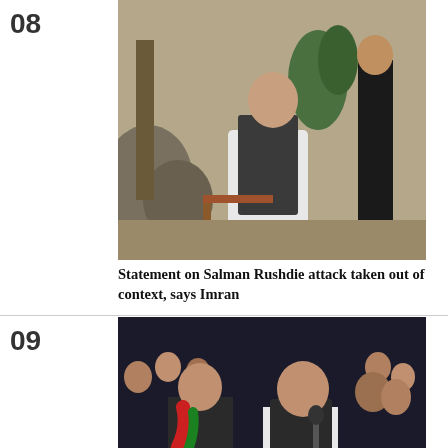08
[Figure (photo): A man in a dark vest and white shalwar kameez seated in a wooden chair outdoors, with rocks and trees in background, and a person in black standing behind.]
Statement on Salman Rushdie attack taken out of context, says Imran
09
[Figure (photo): A crowd at a political rally at night; a man in a black vest speaks into a microphone at center, another man with a red and green scarf stands to his left.]